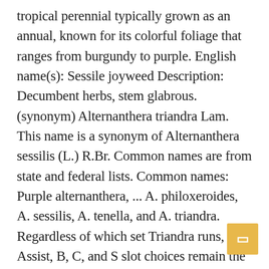tropical perennial typically grown as an annual, known for its colorful foliage that ranges from burgundy to purple. English name(s): Sessile joyweed Description: Decumbent herbs, stem glabrous. (synonym) Alternanthera triandra Lam. This name is a synonym of Alternanthera sessilis (L.) R.Br. Common names are from state and federal lists. Common names: Purple alternanthera, ... A. philoxeroides, A. sessilis, A. tenella, and A. triandra. Regardless of which set Triandra runs, her Assist, B, C, and S slot choices remain the same. (ambiguous synonym) Gomphrena sessilis L. (synonym) It is a generally upright plant that typically forms spreading foliage mounds to 12-30" tall. triandra L. 77 1813 . Leaves simple, opposite, 3-4 x 1 cm, elliptic-oblong to oblanceolate, apex obtuse, base attenuate into a petiole, crenate, glabrous. Maiden & Betche Af Description: Prostrate or decumbent annual; stems ±